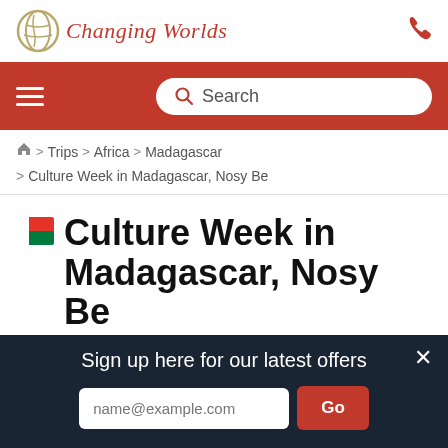[Figure (logo): Changing Worlds logo with circular globe icon and italic red text]
Changing Worlds navigation bar with hamburger menu and Search field
🏠 > Trips > Africa > Madagascar > Culture Week in Madagascar, Nosy Be
Culture Week in Madagascar, Nosy Be
Please visit our Coronavirus
Sign up here for our latest offers